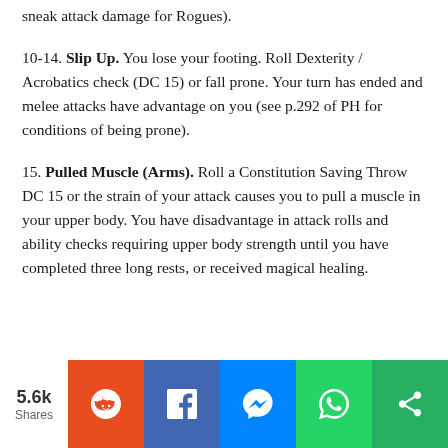sneak attack damage for Rogues).
10-14. Slip Up. You lose your footing. Roll Dexterity / Acrobatics check (DC 15) or fall prone. Your turn has ended and melee attacks have advantage on you (see p.292 of PH for conditions of being prone).
15. Pulled Muscle (Arms). Roll a Constitution Saving Throw DC 15 or the strain of your attack causes you to pull a muscle in your upper body. You have disadvantage in attack rolls and ability checks requiring upper body strength until you have completed three long rests, or received magical healing.